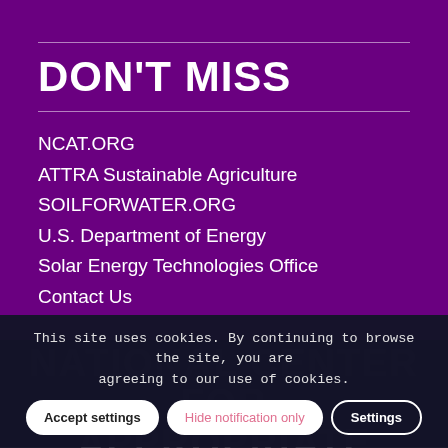DON'T MISS
NCAT.ORG
ATTRA Sustainable Agriculture
SOILFORWATER.ORG
U.S. Department of Energy
Solar Energy Technologies Office
Contact Us
This site uses cookies. By continuing to browse the site, you are agreeing to our use of cookies.
Accept settings | Hide notification only | Settings
NATIONAL CENTER FOR APPROPRIATE TECHNOLOGY